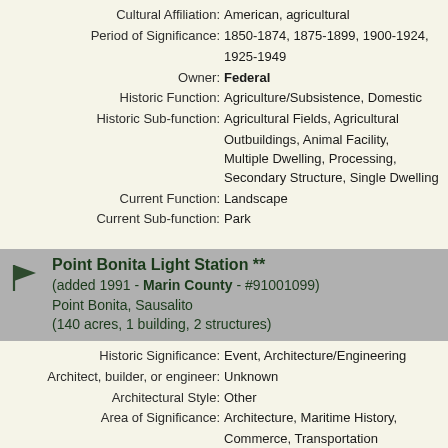Cultural Affiliation: American, agricultural
Period of Significance: 1850-1874, 1875-1899, 1900-1924, 1925-1949
Owner: Federal
Historic Function: Agriculture/Subsistence, Domestic
Historic Sub-function: Agricultural Fields, Agricultural Outbuildings, Animal Facility, Multiple Dwelling, Processing, Secondary Structure, Single Dwelling
Current Function: Landscape
Current Sub-function: Park
Point Bonita Light Station ** (added 1991 - Marin County - #91001099) Point Bonita, Sausalito (140 acres, 1 building, 2 structures)
Historic Significance: Event, Architecture/Engineering
Architect, builder, or engineer: Unknown
Architectural Style: Other
Area of Significance: Architecture, Maritime History, Commerce, Transportation
Period of Significance: 1850-1874, 1875-1899, 1900-1924